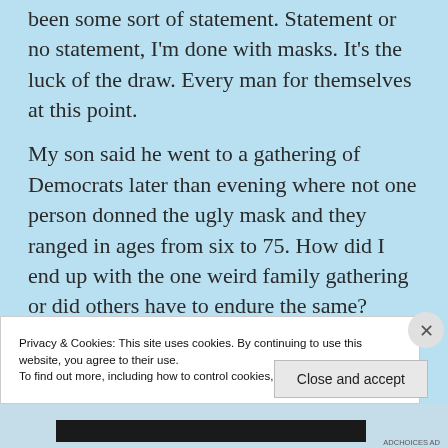been some sort of statement. Statement or no statement, I'm done with masks. It's the luck of the draw. Every man for themselves at this point.
My son said he went to a gathering of Democrats later than evening where not one person donned the ugly mask and they ranged in ages from six to 75. How did I end up with the one weird family gathering or did others have to endure the same?
Privacy & Cookies: This site uses cookies. By continuing to use this website, you agree to their use.
To find out more, including how to control cookies, see here: Cookie Policy
Close and accept